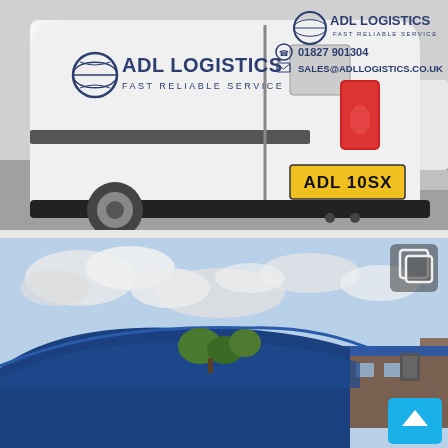[Figure (photo): Photograph of a white ADL Logistics delivery van, rear and side view, in a car park. Van displays 'ADL LOGISTICS / FAST RELIABLE SERVICE' branding, phone number 01827 901304, email SALES@ADLLOGISTICS.CO.UK, and a yellow UK number plate reading 'ADL 10SX'.]
[Figure (photo): Photograph showing the roof/top portion of a blue van against a partly cloudy sky, with a building in the background. A copy/duplicate UI icon and a cyan/blue scroll-up arrow button are overlaid in the bottom-right corner.]